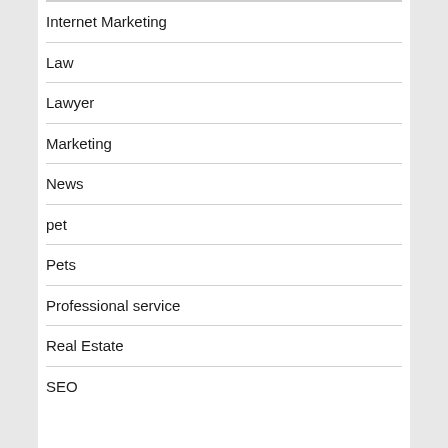Internet Marketing
Law
Lawyer
Marketing
News
pet
Pets
Professional service
Real Estate
SEO